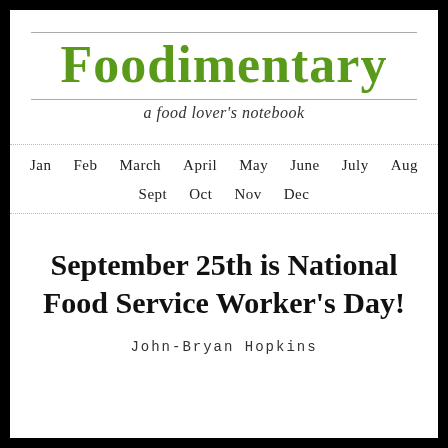Foodimentary
a food lover's notebook
Jan  Feb  March  April  May  June  July  Aug  Sept  Oct  Nov  Dec
September 25th is National Food Service Worker's Day!
John-Bryan Hopkins